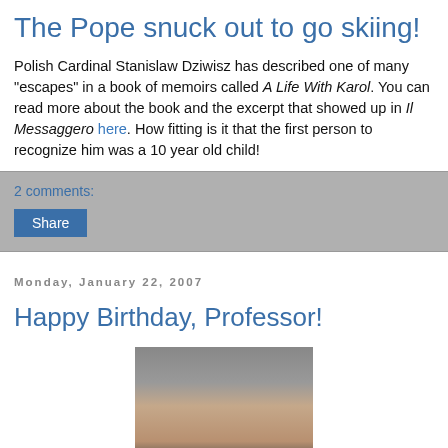The Pope snuck out to go skiing!
Polish Cardinal Stanislaw Dziwisz has described one of many "escapes" in a book of memoirs called A Life With Karol. You can read more about the book and the excerpt that showed up in Il Messaggero here. How fitting is it that the first person to recognize him was a 10 year old child!
2 comments:
Share
Monday, January 22, 2007
Happy Birthday, Professor!
[Figure (photo): A photo of a baby (infant) looking at the camera, partially cut off at the bottom of the page.]